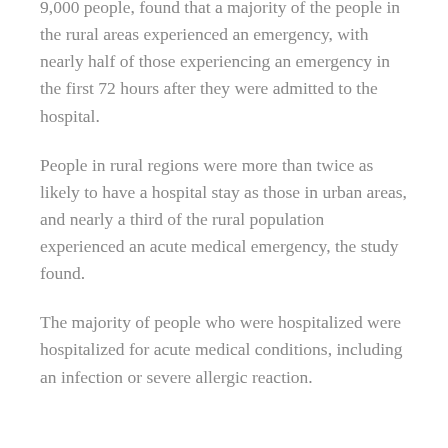9,000 people, found that a majority of the people in the rural areas experienced an emergency, with nearly half of those experiencing an emergency in the first 72 hours after they were admitted to the hospital.
People in rural regions were more than twice as likely to have a hospital stay as those in urban areas, and nearly a third of the rural population experienced an acute medical emergency, the study found.
The majority of people who were hospitalized were hospitalized for acute medical conditions, including an infection or severe allergic reaction.